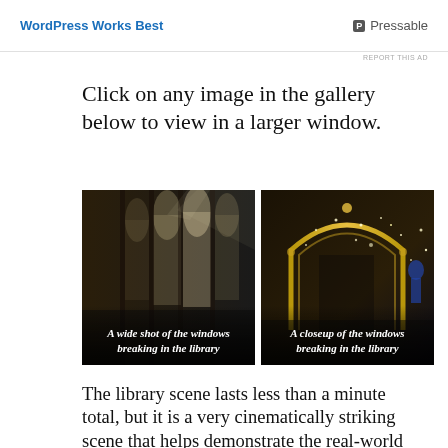WordPress Works Best | Pressable
REPORT THIS AD
Click on any image in the gallery below to view in a larger window.
[Figure (photo): A wide shot of the windows breaking in the library — dark interior with tall arched windows letting in light]
[Figure (photo): A closeup of the windows breaking in the library — ornate golden archway with sparkles/debris]
The library scene lasts less than a minute total, but it is a very cinematically striking scene that helps demonstrate the real-world effects and damage due to Thor's fighting. No librarians were easily discernible in this scene — again, it looked like a student shushed Jane and Erik